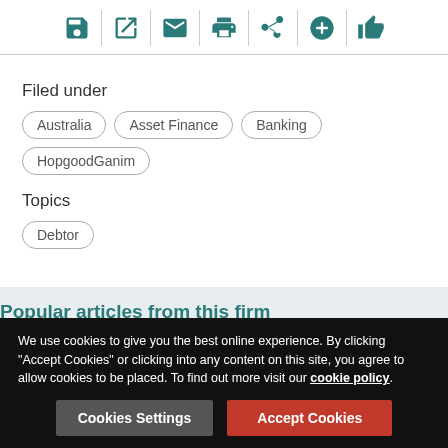[Figure (other): Toolbar with icons: save, external link, email, print, share, add, thumbs up]
Filed under
Australia
Asset Finance
Banking
HopgoodGanim
Topics
Debtor
Popular articles from this firm
Copyright's 10% rule: is it a thing?
We use cookies to give you the best online experience. By clicking "Accept Cookies" or clicking into any content on this site, you agree to allow cookies to be placed. To find out more visit our cookie policy.